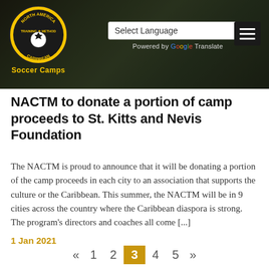[Figure (screenshot): Header banner with NACTM logo (North America Training Method Caribbean Soccer Camps), a Select Language dropdown with Google Translate, and a hamburger menu icon on a dark background with soccer field imagery]
NACTM to donate a portion of camp proceeds to St. Kitts and Nevis Foundation
The NACTM is proud to announce that it will be donating a portion of the camp proceeds in each city to an association that supports the culture or the Caribbean. This summer, the NACTM will be in 9 cities across the country where the Caribbean diaspora is strong. The program's directors and coaches all come [...]
1 Jan 2021
« 1 2 3 4 5 »